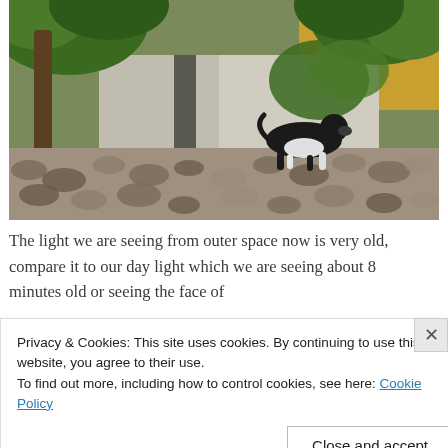[Figure (photo): A black and white dog walking along a stone-paved path, with green trees and foliage, a white wall, and a yellow building visible in the background. Stones and pebbles in foreground.]
The light we are seeing from outer space now is very old, compare it to our day light which we are seeing about 8 minutes old or seeing the face of
Privacy & Cookies: This site uses cookies. By continuing to use this website, you agree to their use.
To find out more, including how to control cookies, see here: Cookie Policy
Close and accept